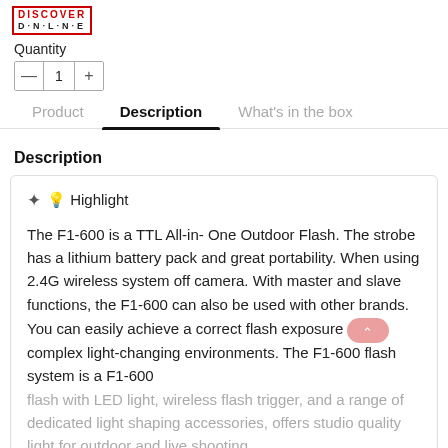[Figure (logo): Discover Online logo - red bordered box with text DISCOVER on top line and D*N*L*N*E on bottom line]
Quantity
— 1 +
Product   Description   What's in the box
Description
💡 Highlight

The F1-600 is a TTL All-in- One Outdoor Flash. The strobe has a lithium battery pack and great portability. When using 2.4G wireless system off camera. With master and slave functions, the F1-600 can also be used with other brands. You can easily achieve a correct flash exposure even in complex light-changing environments. The F1-600 flash system is a F1-600 flash with LED light, wireless flash trigger, and a range of dedicated light shaping accessories, offers studio quality light for outdoor and live shooting.